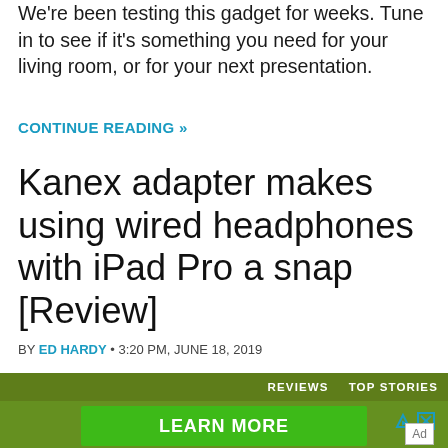We're been testing this gadget for weeks. Tune in to see if it's something you need for your living room, or for your next presentation.
CONTINUE READING »
Kanex adapter makes using wired headphones with iPad Pro a snap [Review]
BY ED HARDY • 3:20 PM, JUNE 18, 2019
[Figure (other): Advertisement banner with dark olive header showing REVIEWS and TOP STORIES labels, green LEARN MORE button, and Battery operated hand warmers text below]
Ad